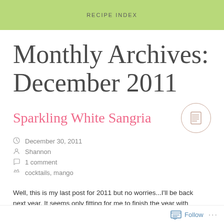RECIPE INDEX
Monthly Archives: December 2011
Sparkling White Sangria
December 30, 2011
Shannon
1 comment
cocktails, mango
Well, this is my last post for 2011 but no worries...I'll be back next year. It seems only fitting for me to finish the year with